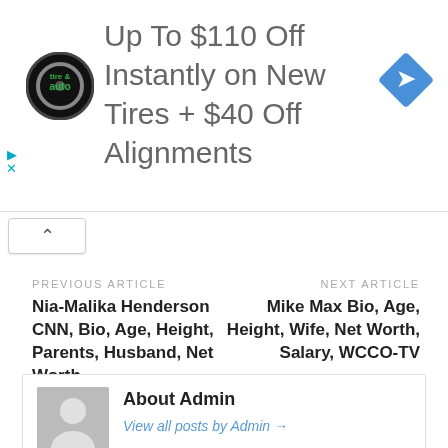[Figure (other): Advertisement banner: tire and auto service logo with text 'Up To $110 Off Instantly on New Tires + $40 Off Alignments' and a blue navigation arrow icon]
PREVIOUS ARTICLE
Nia-Malika Henderson CNN, Bio, Age, Height, Parents, Husband, Net Worth
NEXT ARTICLE
Mike Max Bio, Age, Height, Wife, Net Worth, Salary, WCCO-TV
About Admin
View all posts by Admin →